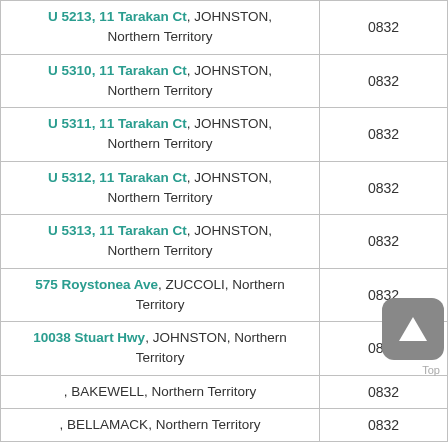| Address | Postcode |
| --- | --- |
| U 5213, 11 Tarakan Ct, JOHNSTON, Northern Territory | 0832 |
| U 5310, 11 Tarakan Ct, JOHNSTON, Northern Territory | 0832 |
| U 5311, 11 Tarakan Ct, JOHNSTON, Northern Territory | 0832 |
| U 5312, 11 Tarakan Ct, JOHNSTON, Northern Territory | 0832 |
| U 5313, 11 Tarakan Ct, JOHNSTON, Northern Territory | 0832 |
| 575 Roystonea Ave, ZUCCOLI, Northern Territory | 0832 |
| 10038 Stuart Hwy, JOHNSTON, Northern Territory | 0832 |
| , BAKEWELL, Northern Territory | 0832 |
| , BELLAMACK, Northern Territory | 0832 |